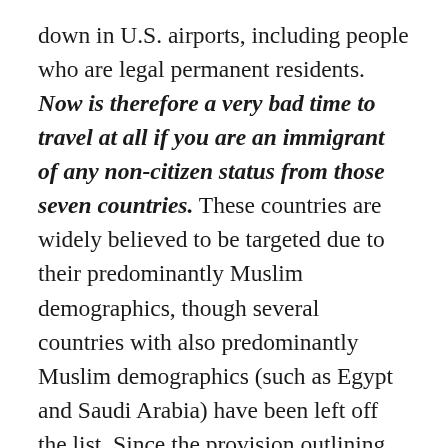down in U.S. airports, including people who are legal permanent residents. Now is therefore a very bad time to travel at all if you are an immigrant of any non-citizen status from those seven countries. These countries are widely believed to be targeted due to their predominantly Muslim demographics, though several countries with also predominantly Muslim demographics (such as Egypt and Saudi Arabia) have been left off the list. Since the provision outlining this requires several reports from government officials, we may see some flux in which countries remain on (or are added to) this list long-term. The EO contains an exemption clause “on a case-by-case basis,”